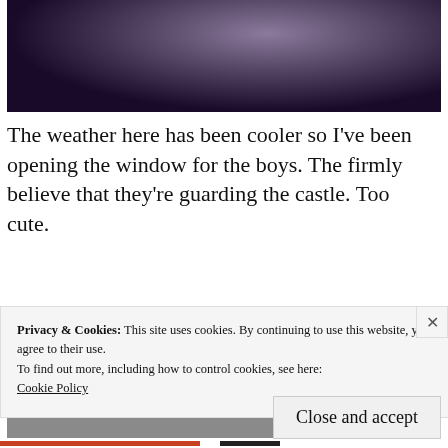[Figure (photo): Dark photo showing what appears to be a hand or animal against a dark purple/dark background, partially cropped at top of page]
The weather here has been cooler so I've been opening the window for the boys. The firmly believe that they're guarding the castle. Too cute.
[Figure (photo): Photo of an orange cat lying on a gray floor near dark wooden furniture legs]
Privacy & Cookies: This site uses cookies. By continuing to use this website, you agree to their use.
To find out more, including how to control cookies, see here:
Cookie Policy
Close and accept